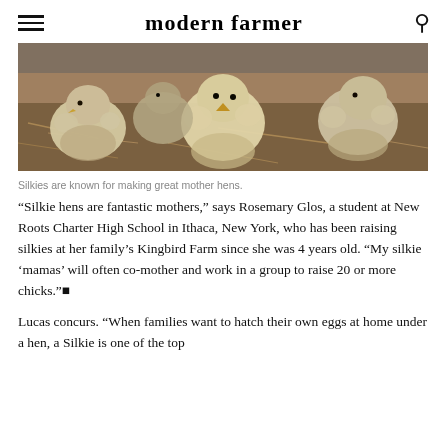modern farmer
[Figure (photo): Several fluffy Silkie chicks huddled together on straw/hay]
Silkies are known for making great mother hens.
“Silkie hens are fantastic mothers,” says Rosemary Glos, a student at New Roots Charter High School in Ithaca, New York, who has been raising silkies at her family’s Kingbird Farm since she was 4 years old. “My silkie ‘mamas’ will often co-mother and work in a group to raise 20 or more chicks.”
Lucas concurs. “When families want to hatch their own eggs at home under a hen, a Silkie is one of the top